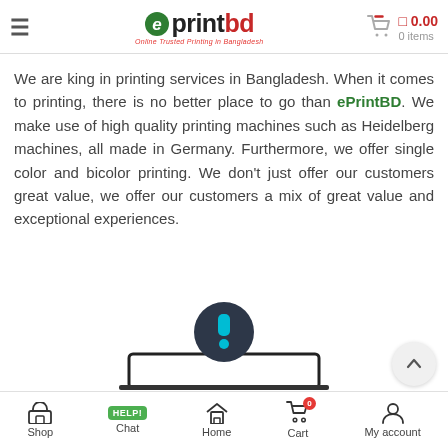[Figure (logo): ePrintBD logo with green leaf, brand name, and tagline 'Online Trusted Printing in Bangladesh']
We are king in printing services in Bangladesh. When it comes to printing, there is no better place to go than ePrintBD. We make use of high quality printing machines such as Heidelberg machines, all made in Germany. Furthermore, we offer single color and bicolor printing. We don't just offer our customers great value, we offer our customers a mix of great value and exceptional experiences.
[Figure (screenshot): Error icon — dark circle with teal exclamation mark, above a laptop outline frame]
Shop | Chat | Home | Cart | My account